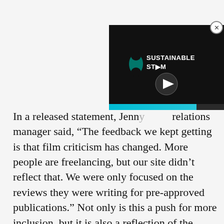[Figure (screenshot): Video player overlay showing 'Sustainable Stream' logo with teal/dark branding, a play button, and a teal progress bar at the bottom. Close (X) button in top-right corner.]
In a released statement, Jenny [obscured], relations manager said, “The feedback we kept getting is that film criticism has changed. More people are freelancing, but our site didn’t reflect that. We were only focused on the reviews they were writing for pre-approved publications.” Not only is this a push for more inclusion, but it is also a reflection of the current state of publishing. As newsrooms get smaller and budgets get tighter, freelancing has become the norm, with critics writing